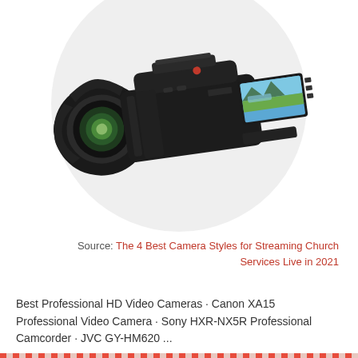[Figure (photo): A professional black camcorder/video camera with lens hood and flip-out LCD screen showing a landscape with mountains and lake, displayed on a light gray circular background.]
Source: The 4 Best Camera Styles for Streaming Church Services Live in 2021
Best Professional HD Video Cameras · Canon XA15 Professional Video Camera · Sony HXR-NX5R Professional Camcorder · JVC GY-HM620 ...